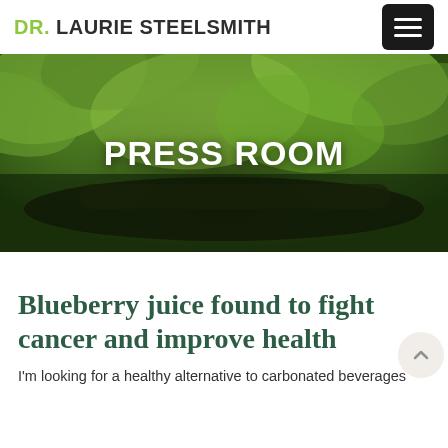DR. LAURIE STEELSMITH
[Figure (photo): Green leaves and plant background image serving as hero banner with 'PRESS ROOM' text overlay]
PRESS ROOM
Blueberry juice found to fight cancer and improve health
I'm looking for a healthy alternative to carbonated beverages